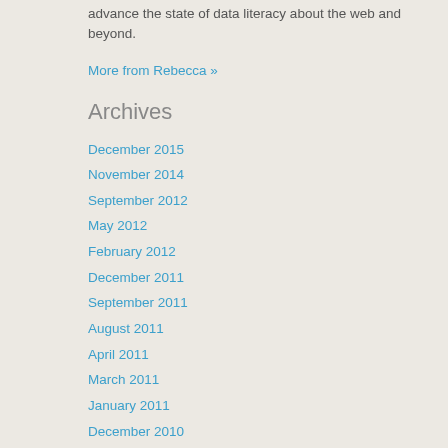advance the state of data literacy about the web and beyond.
More from Rebecca »
Archives
December 2015
November 2014
September 2012
May 2012
February 2012
December 2011
September 2011
August 2011
April 2011
March 2011
January 2011
December 2010
November 2010
October 2010
September 2010
August 2010